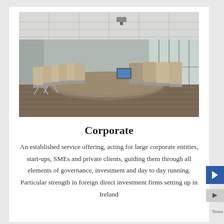[Figure (photo): A modern corporate boardroom with a long oval conference table, multiple beige/tan office chairs on wheels, large floor-to-ceiling windows on two sides showing an outdoor landscape, and ceiling-mounted projector. The room has a wood-patterned floor.]
Corporate
An established service offering, acting for large corporate entities, start-ups, SMEs and private clients, guiding them through all elements of governance, investment and day to day running. Particular strength in foreign direct investment firms setting up in Ireland